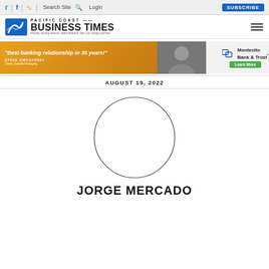Twitter | Facebook | RSS | Search Site | Login | SUBSCRIBE
[Figure (logo): Pacific Coast Business Times logo with emblem and tagline]
[Figure (photo): Advertisement banner: 'Best banking relationship in 35 years!' Steve Owczarski, Owner, Seaside Packaging – Montecito Bank & Trust, Learn More]
AUGUST 19, 2022
[Figure (photo): Circular profile photo placeholder (empty circle) for Jorge Mercado]
JORGE MERCADO